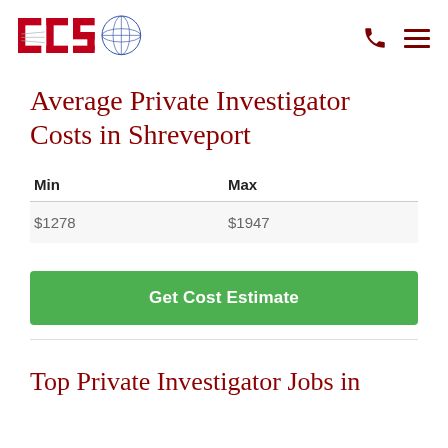[Figure (logo): ICS logo with globe graphic on the left; phone icon and hamburger menu icon on the right]
Average Private Investigator Costs in Shreveport
| Min | Max |
| --- | --- |
| $1278 | $1947 |
Get Cost Estimate
Top Private Investigator Jobs in